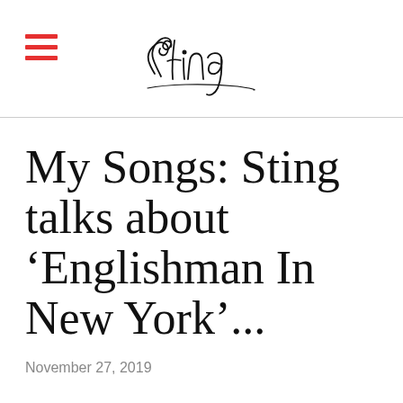Sting (logo)
My Songs: Sting talks about ‘Englishman In New York’...
November 27, 2019